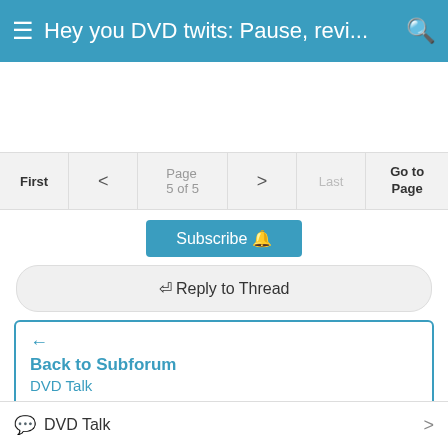☰ Hey you DVD twits: Pause, revi... 🔍
[Figure (other): Advertisement/blank white space area]
First  <  Page 5 of 5  >  Last  Go to Page
Subscribe 🔔
↩ Reply to Thread
← Back to Subforum
DVD Talk
View Next Unread
What Are You Watching This Week? (10/17/11 - 10/23/11) →
💬 DVD Talk  >